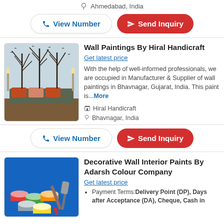📍 Ahmedabad, India
View Number | Send Inquiry
Wall Paintings By Hiral Handicraft
Get latest price
With the help of well-informed professionals, we are occupied in Manufacturer & Supplier of wall paintings in Bhavnagar, Gujarat, India. This paint is...More
Hiral Handicraft
Bhavnagar, India
View Number | Send Inquiry
Decorative Wall Interior Paints By Adarsh Colour Company
Get latest price
Payment Terms:Delivery Point (DP), Days after Acceptance (DA), Cheque, Cash in